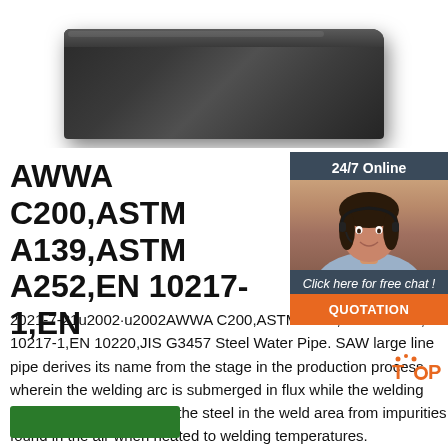[Figure (photo): Steel plate / flat metal sheet viewed at an angle, dark metallic surface with rounded corners, product photo on white background]
AWWA C200,ASTM A139,ASTM A252,EN 10217-1,EN
[Figure (infographic): 24/7 Online chat panel with customer service representative photo, 'Click here for free chat!' text, and orange QUOTATION button]
2021-7-21u2002·u2002AWWA C200,ASTM A139,ASTM A252,EN 10217-1,EN 10220,JIS G3457 Steel Water Pipe. SAW large line pipe derives its name from the stage in the production process wherein the welding arc is submerged in flux while the welding occurs. The flux protects the steel in the weld area from impurities found in the air when heated to welding temperatures.